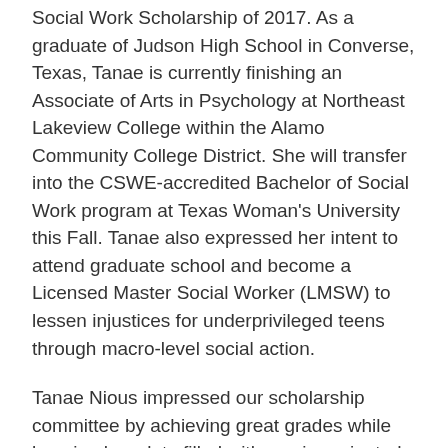Social Work Scholarship of 2017. As a graduate of Judson High School in Converse, Texas, Tanae is currently finishing an Associate of Arts in Psychology at Northeast Lakeview College within the Alamo Community College District. She will transfer into the CSWE-accredited Bachelor of Social Work program at Texas Woman's University this Fall. Tanae also expressed her intent to attend graduate school and become a Licensed Master Social Worker (LMSW) to lessen injustices for underprivileged teens through macro-level social action.
Tanae Nious impressed our scholarship committee by achieving great grades while keeping her plate filled with service-oriented extracurricular activities. She's maintained a cumulative GPA of 4.47 and has been inducted into the Phi Theta Kappa International Honor Society. Since August 2016, she's served as Membership Chair to recruit and retain new inductees for her PTK Chapter. She participated in a two-semester Student Leadership Institute and was invited to Washington, DC in July to facilitate her